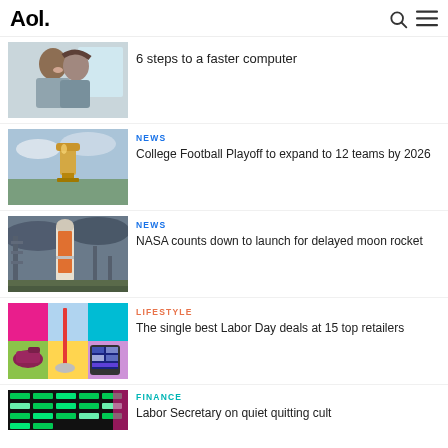Aol.
[Figure (photo): Couple smiling at a laptop computer]
6 steps to a faster computer
[Figure (photo): Trophy on a beach with cloudy sky]
NEWS
College Football Playoff to expand to 12 teams by 2026
[Figure (photo): NASA rocket on launch pad under cloudy sky]
NEWS
NASA counts down to launch for delayed moon rocket
[Figure (photo): Collage of lifestyle products including shoes, vacuum, and phone]
LIFESTYLE
The single best Labor Day deals at 15 top retailers
[Figure (photo): Stock market board with green numbers]
FINANCE
Labor Secretary on quiet quitting cult